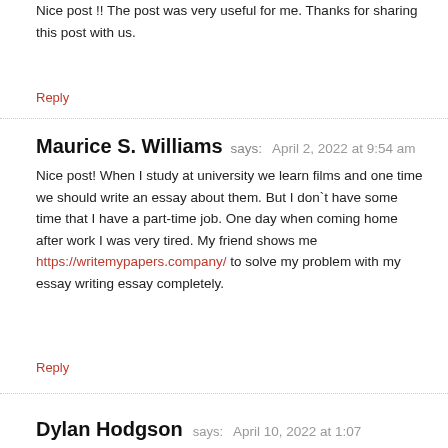Nice post !! The post was very useful for me. Thanks for sharing this post with us.
Reply
Maurice S. Williams says: April 2, 2022 at 9:54 am
Nice post! When I study at university we learn films and one time we should write an essay about them. But I don`t have some time that I have a part-time job. One day when coming home after work I was very tired. My friend shows me https://writemypapers.company/ to solve my problem with my essay writing essay completely.
Reply
Dylan Hodgson says: April 10, 2022 at 1:07